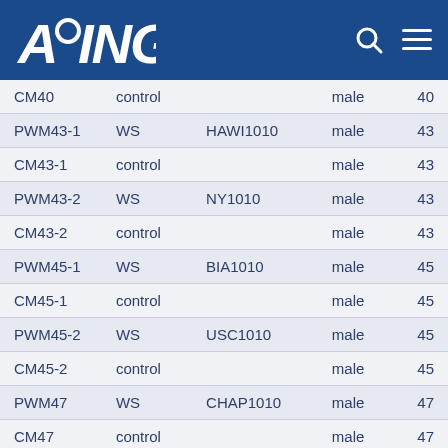AGING
|  |  |  |  |  |
| --- | --- | --- | --- | --- |
| CM40 | control |  | male | 40 |
| PWM43-1 | WS | HAWI1010 | male | 43 |
| CM43-1 | control |  | male | 43 |
| PWM43-2 | WS | NY1010 | male | 43 |
| CM43-2 | control |  | male | 43 |
| PWM45-1 | WS | BIA1010 | male | 45 |
| CM45-1 | control |  | male | 45 |
| PWM45-2 | WS | USC1010 | male | 45 |
| CM45-2 | control |  | male | 45 |
| PWM47 | WS | CHAP1010 | male | 47 |
| CM47 | control |  | male | 47 |
| PWM49 | WS | CONST1010 | male | 49 |